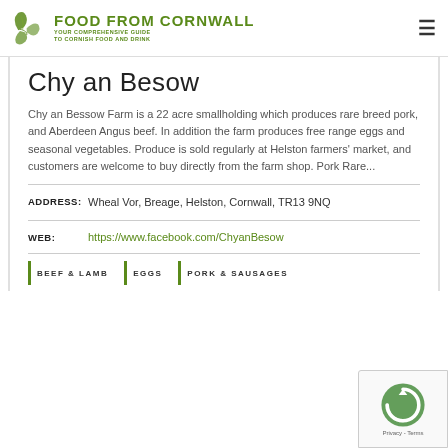FOOD FROM CORNWALL — YOUR COMPREHENSIVE GUIDE TO CORNISH FOOD AND DRINK
Chy an Besow
Chy an Bessow Farm is a 22 acre smallholding which produces rare breed pork, and Aberdeen Angus beef. In addition the farm produces free range eggs and seasonal vegetables. Produce is sold regularly at Helston farmers' market, and customers are welcome to buy directly from the farm shop. Pork  Rare...
ADDRESS: Wheal Vor, Breage, Helston, Cornwall, TR13 9NQ
WEB: https://www.facebook.com/ChyanBesow
BEEF & LAMB
EGGS
PORK & SAUSAGES